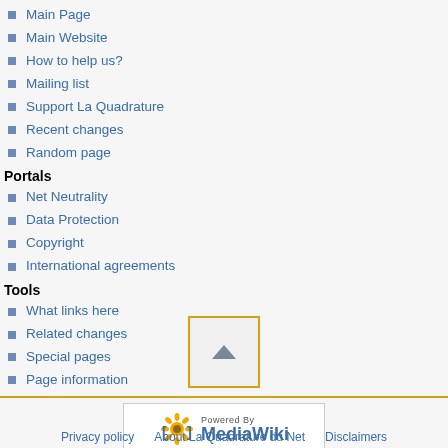Main Page
Main Website
How to help us?
Mailing list
Support La Quadrature
Recent changes
Random page
Portals
Net Neutrality
Data Protection
Copyright
International agreements
Tools
What links here
Related changes
Special pages
Page information
[Figure (other): Scroll to top button with upward pointing triangle arrow inside a yellow-bordered box]
[Figure (logo): Powered by MediaWiki badge with sunflower logo]
Privacy policy   About La Quadrature du Net   Disclaimers